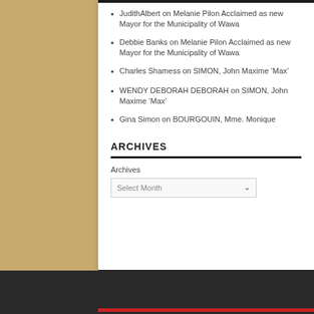JudithAlbert on Melanie Pilon Acclaimed as new Mayor for the Municipality of Wawa
Debbie Banks on Melanie Pilon Acclaimed as new Mayor for the Municipality of Wawa
Charles Shamess on SIMON, John Maxime ‘Max’
WENDY DEBORAH DEBORAH on SIMON, John Maxime ‘Max’
Gina Simon on BOURGOUIN, Mme. Monique
ARCHIVES
Archives
[Figure (other): Dropdown select box labeled Select Month with chevron arrow]